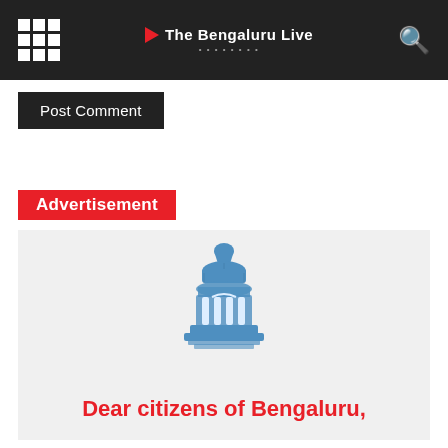The Bengaluru Live
Post Comment
Advertisement
[Figure (illustration): Blue ink-style illustration of a traditional Indian architectural structure (resembling a small temple tower or kiosk), used as the logo/mascot for a Bengaluru advertisement.]
Dear citizens of Bengaluru,